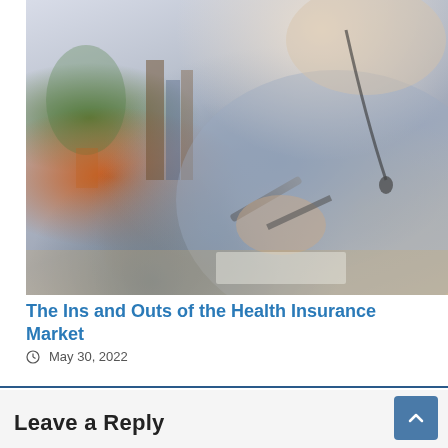[Figure (photo): A woman in a light blue striped shirt holding a pen, sitting at a desk, with bookshelves and a plant visible in the background. The image is slightly blurred/bokeh style.]
The Ins and Outs of the Health Insurance Market
May 30, 2022
Leave a Reply